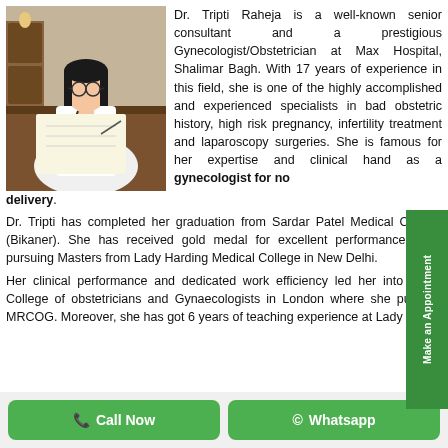[Figure (photo): Photo of Dr. Tripti Raheja, a female doctor wearing white coat and glasses, seated at a desk writing]
Dr. Tripti Raheja is a well-known senior consultant and a prestigious Gynecologist/Obstetrician at Max Hospital, Shalimar Bagh. With 17 years of experience in this field, she is one of the highly accomplished and experienced specialists in bad obstetric history, high risk pregnancy, infertility treatment and laparoscopy surgeries. She is famous for her expertise and clinical hand as a gynecologist for normal delivery.
Dr. Tripti has completed her graduation from Sardar Patel Medical College (Bikaner). She has received gold medal for excellent performance while pursuing Masters from Lady Harding Medical College in New Delhi.
Her clinical performance and dedicated work efficiency led her into Royal College of obstetricians and Gynaecologists in London where she pursued MRCOG. Moreover, she has got 6 years of teaching experience at Lady